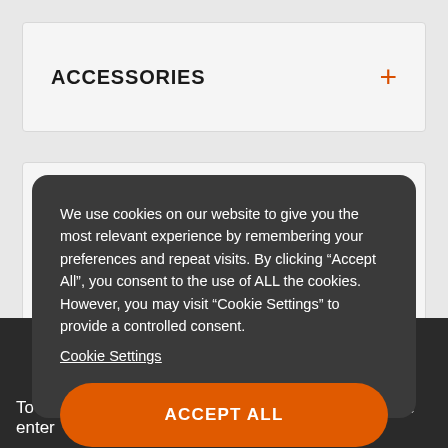ACCESSORIES
We use cookies on our website to give you the most relevant experience by remembering your preferences and repeat visits. By clicking “Accept All”, you consent to the use of ALL the cookies. However, you may visit “Cookie Settings” to provide a controlled consent.
Cookie Settings
ACCEPT ALL
To find your nearest authorised Ariens Dealer, please enter